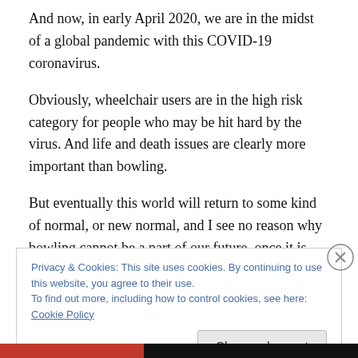And now, in early April 2020, we are in the midst of a global pandemic with this COVID-19 coronavirus.
Obviously, wheelchair users are in the high risk category for people who may be hit hard by the virus. And life and death issues are clearly more important than bowling.
But eventually this world will return to some kind of normal, or new normal, and I see no reason why bowling cannot be a part of our future, once it is safe to do so again.
Privacy & Cookies: This site uses cookies. By continuing to use this website, you agree to their use.
To find out more, including how to control cookies, see here: Cookie Policy
Close and accept